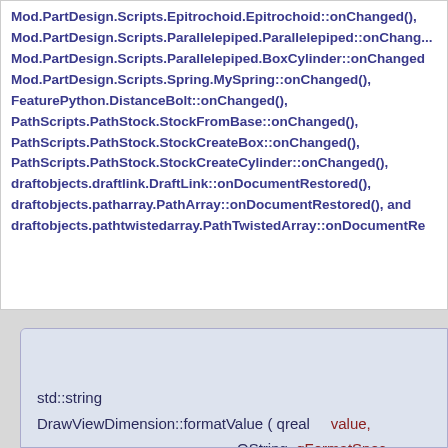Mod.PartDesign.Scripts.Epitrochoid.Epitrochoid::onChanged(), Mod.PartDesign.Scripts.Parallelepiped.Parallelepiped::onChanged(), Mod.PartDesign.Scripts.Parallelepiped.BoxCylinder::onChanged(), Mod.PartDesign.Scripts.Spring.MySpring::onChanged(), FeaturePython.DistanceBolt::onChanged(), PathScripts.PathStock.StockFromBase::onChanged(), PathScripts.PathStock.StockCreateBox::onChanged(), PathScripts.PathStock.StockCreateCylinder::onChanged(), draftobjects.draftlink.DraftLink::onDocumentRestored(), draftobjects.patharray.PathArray::onDocumentRestored(), and draftobjects.pathtwistedarray.PathTwistedArray::onDocumentRe
formatValue()
std::string DrawViewDimension::formatValue ( qreal value, QString qFormatSpec,